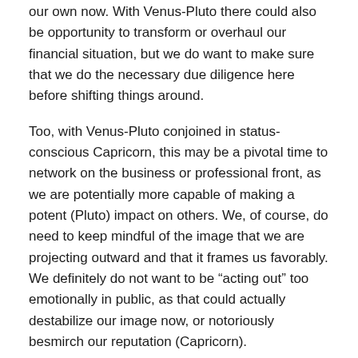our own now. With Venus-Pluto there could also be opportunity to transform or overhaul our financial situation, but we do want to make sure that we do the necessary due diligence here before shifting things around.
Too, with Venus-Pluto conjoined in status-conscious Capricorn, this may be a pivotal time to network on the business or professional front, as we are potentially more capable of making a potent (Pluto) impact on others. We, of course, do need to keep mindful of the image that we are projecting outward and that it frames us favorably. We definitely do not want to be “acting out” too emotionally in public, as that could actually destabilize our image now, or notoriously besmirch our reputation (Capricorn).
Patrice Thompson
[Figure (photo): A warm golden-toned photo, partially visible at the bottom of the page, appearing to show hands or a decorative object in amber/gold tones.]